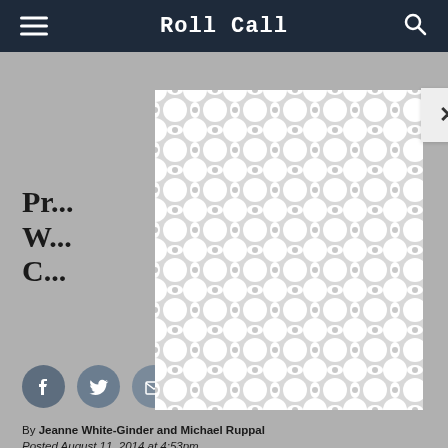Roll Call
[Figure (other): Modal overlay with decorative chain/bubble pattern in gray and white, with an X close button in the top right corner]
Pr... W... C...
[Figure (other): Social sharing icons: Facebook, Twitter, Email, Reddit]
By Jeanne White-Ginder and Michael Ruppal
Posted August 11, 2014 at 4:53pm